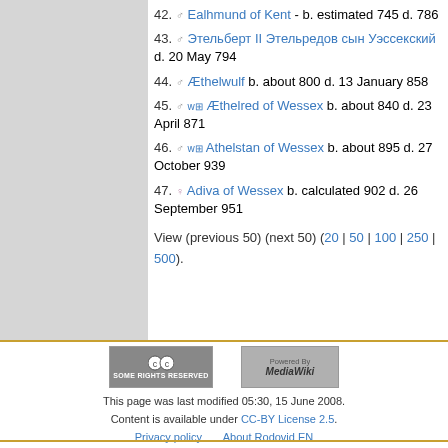42. ♂ Ealhmund of Kent - b. estimated 745 d. 786
43. ♂ Этельберт II Этельредов сын Уэссекский d. 20 May 794
44. ♂ Æthelwulf b. about 800 d. 13 January 858
45. ♂ w ⊞ Æthelred of Wessex b. about 840 d. 23 April 871
46. ♂ w ⊞ Athelstan of Wessex b. about 895 d. 27 October 939
47. ♀ Adiva of Wessex b. calculated 902 d. 26 September 951
View (previous 50) (next 50) (20 | 50 | 100 | 250 | 500).
This page was last modified 05:30, 15 June 2008. Content is available under CC-BY License 2.5. Privacy policy   About Rodovid EN   Disclaimers